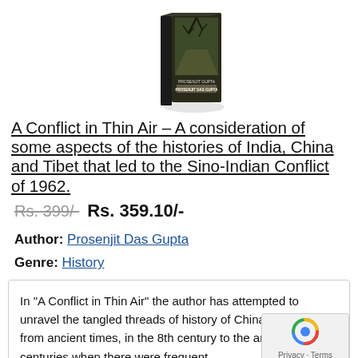[Figure (illustration): Book cover image of 'A Conflict in Thin Air' by Prosenjit Das Gupta, showing a dark book with a nature/landscape theme]
A Conflict in Thin Air – A consideration of some aspects of the histories of India, China and Tibet that led to the Sino-Indian Conflict of 1962.
Rs. 399/- Rs. 359.10/-
Author: Prosenjit Das Gupta
Genre: History
In "A Conflict in Thin Air" the author has attempted to unravel the tangled threads of history of China and Tibet from ancient times, in the 8th century to the and the 20th centuries when there were frequent